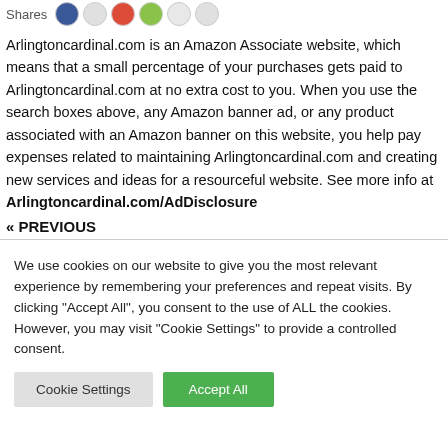Shares [social share icons]
Arlingtoncardinal.com is an Amazon Associate website, which means that a small percentage of your purchases gets paid to Arlingtoncardinal.com at no extra cost to you. When you use the search boxes above, any Amazon banner ad, or any product associated with an Amazon banner on this website, you help pay expenses related to maintaining Arlingtoncardinal.com and creating new services and ideas for a resourceful website. See more info at Arlingtoncardinal.com/AdDisclosure
« PREVIOUS
We use cookies on our website to give you the most relevant experience by remembering your preferences and repeat visits. By clicking "Accept All", you consent to the use of ALL the cookies. However, you may visit "Cookie Settings" to provide a controlled consent.
Cookie Settings
Accept All